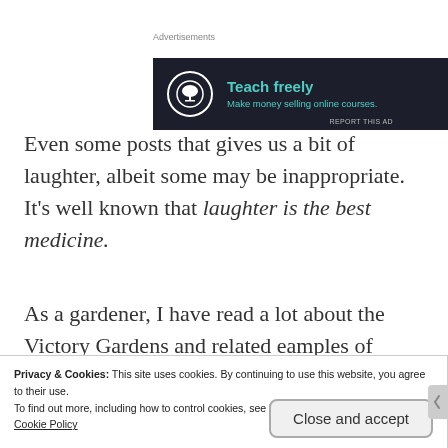[Figure (screenshot): Advertisement banner with dark background showing a bonsai tree icon in a circle, text 'Teach freely' in teal and 'Make money selling online courses.' in teal smaller text]
Even some posts that gives us a bit of laughter, albeit some may be inappropriate. It’s well known that laughter is the best medicine.
As a gardener, I have read a lot about the Victory Gardens and related eamples of when Americans were called upon to help our nation during the
Privacy & Cookies: This site uses cookies. By continuing to use this website, you agree to their use.
To find out more, including how to control cookies, see here:
Cookie Policy
Close and accept